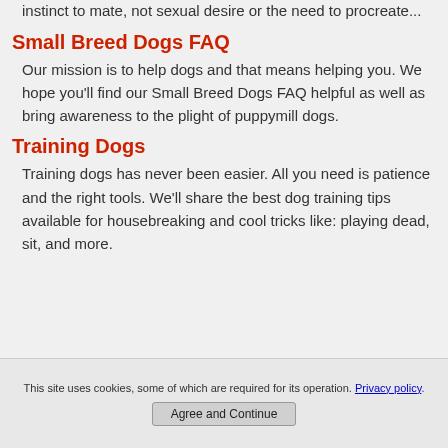instinct to mate, not sexual desire or the need to procreate...
Small Breed Dogs FAQ
Our mission is to help dogs and that means helping you. We hope you'll find our Small Breed Dogs FAQ helpful as well as bring awareness to the plight of puppymill dogs.
Training Dogs
Training dogs has never been easier. All you need is patience and the right tools. We'll share the best dog training tips available for housebreaking and cool tricks like: playing dead, sit, and more.
This site uses cookies, some of which are required for its operation. Privacy policy. Agree and Continue